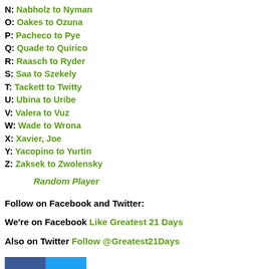N: Nabholz to Nyman
O: Oakes to Ozuna
P: Pacheco to Pye
Q: Quade to Quirico
R: Raasch to Ryder
S: Saa to Szekely
T: Tackett to Twitty
U: Ubina to Uribe
V: Valera to Vuz
W: Wade to Wrona
X: Xavier, Joe
Y: Yacopino to Yurtin
Z: Zaksek to Zwolensky
Random Player
Follow on Facebook and Twitter:
We're on Facebook Like Greatest 21 Days
Also on Twitter Follow @Greatest21Days
[Figure (logo): Facebook and Twitter social media icons side by side]